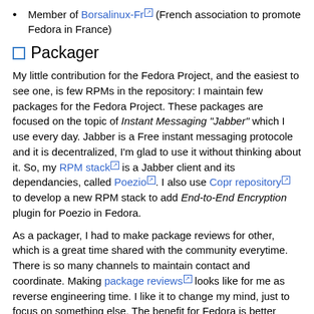Member of Borsalinux-Fr (French association to promote Fedora in France)
Packager
My little contribution for the Fedora Project, and the easiest to see one, is few RPMs in the repository: I maintain few packages for the Fedora Project. These packages are focused on the topic of Instant Messaging "Jabber" which I use every day. Jabber is a Free instant messaging protocole and it is decentralized, I'm glad to use it without thinking about it. So, my RPM stack is a Jabber client and its dependancies, called Poezio. I also use Copr repository to develop a new RPM stack to add End-to-End Encryption plugin for Poezio in Fedora.
As a packager, I had to make package reviews for other, which is a great time shared with the community everytime. There is so many channels to maintain contact and coordinate. Making package reviews looks like for me as reverse engineering time. I like it to change my mind, just to focus on something else. The benefit for Fedora is better quality and stability...